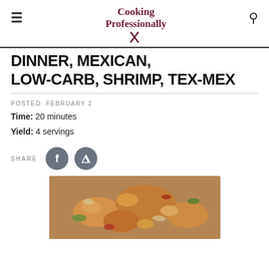Cooking Professionally
DINNER, MEXICAN, LOW-CARB, SHRIMP, TEX-MEX
POSTED: FEBRUARY 2
Time: 20 minutes
Yield: 4 servings
SHARE
[Figure (photo): Close-up photo of a pan of shrimp fajita stir-fry with peppers and onions]